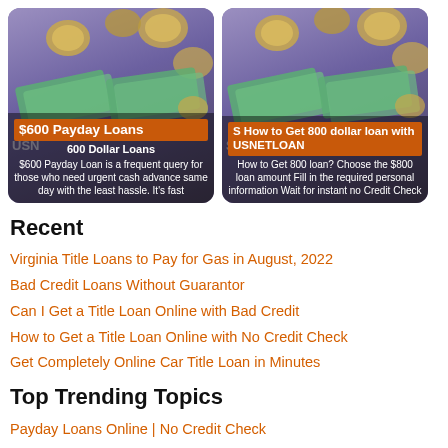[Figure (photo): Card image for $600 Payday Loans with purple/coin background, orange title bar reading '$600 Payday Loans', subtitle '600 Dollar Loans', and description text about payday loans]
[Figure (photo): Card image for 'How to Get 800 dollar loan with USNETLOAN' with purple/coin background, orange title bar, and description text about the $800 loan]
Recent
Virginia Title Loans to Pay for Gas in August, 2022
Bad Credit Loans Without Guarantor
Can I Get a Title Loan Online with Bad Credit
How to Get a Title Loan Online with No Credit Check
Get Completely Online Car Title Loan in Minutes
Top Trending Topics
Payday Loans Online | No Credit Check
Payday Loan Online | No bank account
Emergency Loans | Urgent Needs